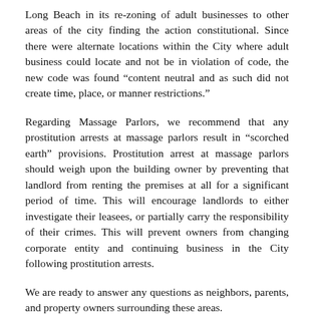Long Beach in its re-zoning of adult businesses to other areas of the city finding the action constitutional. Since there were alternate locations within the City where adult business could locate and not be in violation of code, the new code was found “content neutral and as such did not create time, place, or manner restrictions.”
Regarding Massage Parlors, we recommend that any prostitution arrests at massage parlors result in “scorched earth” provisions. Prostitution arrest at massage parlors should weigh upon the building owner by preventing that landlord from renting the premises at all for a significant period of time. This will encourage landlords to either investigate their leasees, or partially carry the responsibility of their crimes. This will prevent owners from changing corporate entity and continuing business in the City following prostitution arrests.
We are ready to answer any questions as neighbors, parents, and property owners surrounding these areas.